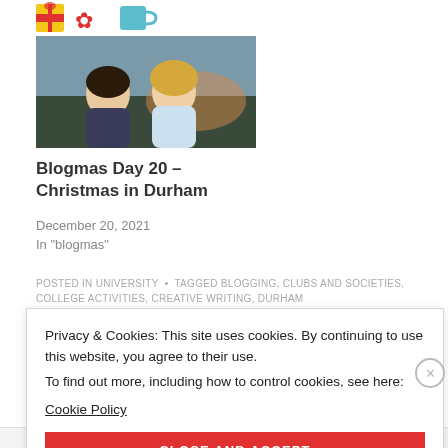[Figure (photo): Photo of two young women smiling outdoors at what appears to be a Christmas market or outdoor evening event]
Blogmas Day 20 – Christmas in Durham
December 20, 2021
In "blogmas"
POSTED IN UNIVERSITY • TAGGED BLOGGING, CLUBS AND SOCIETIES, COLLEGE ACTIVITIES, CREATIVE WRITING, DURHAM
Privacy & Cookies: This site uses cookies. By continuing to use this website, you agree to their use.
To find out more, including how to control cookies, see here:
Cookie Policy
CLOSE AND ACCEPT